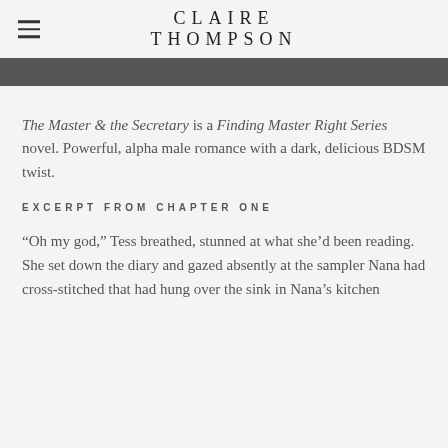CLAIRE THOMPSON
The Master & the Secretary is a Finding Master Right Series novel. Powerful, alpha male romance with a dark, delicious BDSM twist.
EXCERPT FROM CHAPTER ONE
“Oh my god,” Tess breathed, stunned at what she’d been reading. She set down the diary and gazed absently at the sampler Nana had cross-stitched that had hung over the sink in Nana’s kitchen